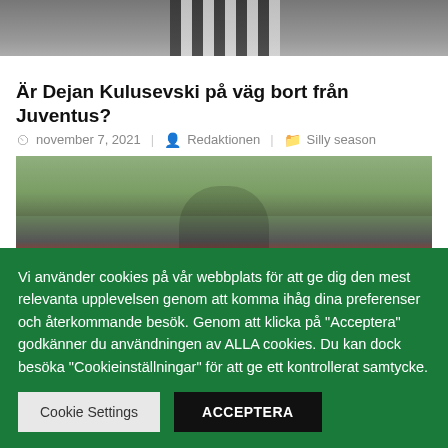[Figure (photo): Top portion of a football player in black and white striped jersey, cropped at torso level]
Är Dejan Kulusevski på väg bort från Juventus?
november 7, 2021   Redaktionen   Silly season
[Figure (photo): Dejan Kulusevski celebrating in a red jersey, stadium seats visible in background]
Vi använder cookies på vår webbplats för att ge dig den mest relevanta upplevelsen genom att komma ihåg dina preferenser och återkommande besök. Genom att klicka på "Acceptera" godkänner du användningen av ALLA cookies. Du kan dock besöka "Cookieinställningar" för att ge ett kontrollerat samtycke.
Cookie Settings   ACCEPTERA